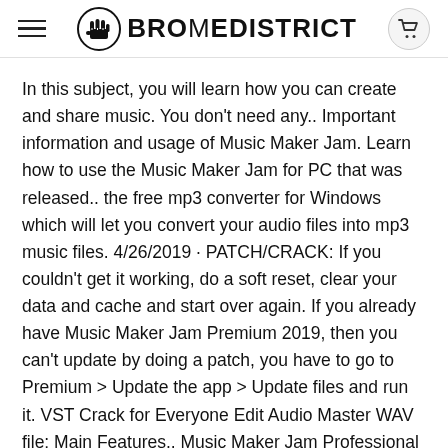BROMEDISTRICT
In this subject, you will learn how you can create and share music. You don't need any.. Important information and usage of Music Maker Jam. Learn how to use the Music Maker Jam for PC that was released.. the free mp3 converter for Windows which will let you convert your audio files into mp3 music files. 4/26/2019 · PATCH/CRACK: If you couldn't get it working, do a soft reset, clear your data and cache and start over again. If you already have Music Maker Jam Premium 2019, then you can't update by doing a patch, you have to go to Premium > Update the app > Update files and run it. VST Crack for Everyone Edit Audio Master WAV file: Main Features.. Music Maker Jam Professional 2017 Crack With License Keygen Full Version. Music Maker Jam Full Version is